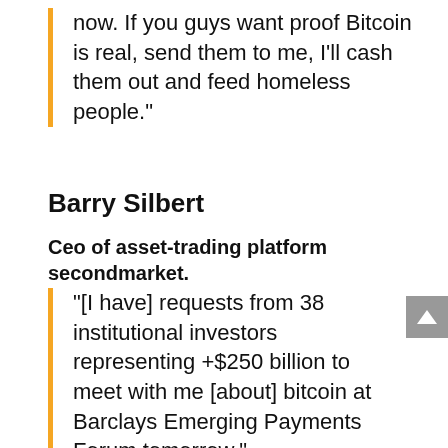now. If you guys want proof Bitcoin is real, send them to me, I'll cash them out and feed homeless people."
Barry Silbert
Ceo of asset-trading platform secondmarket.
"[I have] requests from 38 institutional investors representing +$250 billion to meet with me [about] bitcoin at Barclays Emerging Payments Forum tomorrow."